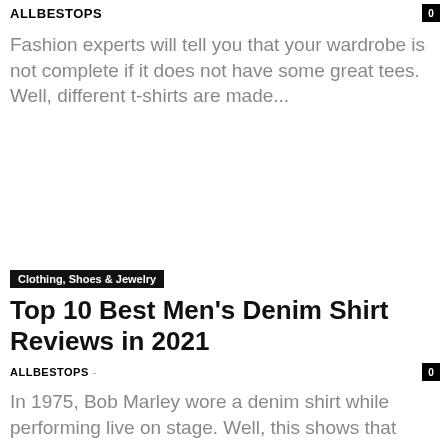ALLBESTOPS
Fashion experts will tell you that your wardrobe is not complete if it does not have some great tees. Well, different t-shirts are made...
Clothing, Shoes & Jewelry
Top 10 Best Men's Denim Shirt Reviews in 2021
ALLBESTOPS
In 1975, Bob Marley wore a denim shirt while performing live on stage. Well, this shows that